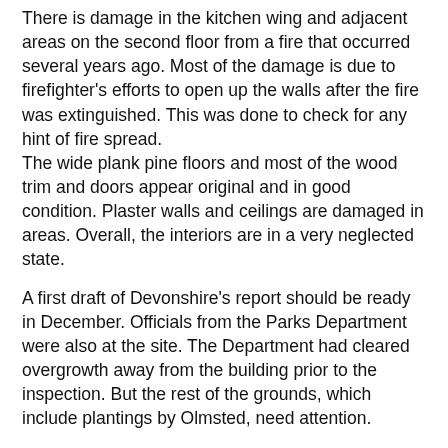There is damage in the kitchen wing and adjacent areas on the second floor from a fire that occurred several years ago. Most of the damage is due to firefighter's efforts to open up the walls after the fire was extinguished. This was done to check for any hint of fire spread. The wide plank pine floors and most of the wood trim and doors appear original and in good condition. Plaster walls and ceilings are damaged in areas. Overall, the interiors are in a very neglected state.
A first draft of Devonshire's report should be ready in December. Officials from the Parks Department were also at the site. The Department had cleared overgrowth away from the building prior to the inspection. But the rest of the grounds, which include plantings by Olmsted, need attention.
The Conservancy will continue to press for this important site to be restored and opened to the public.